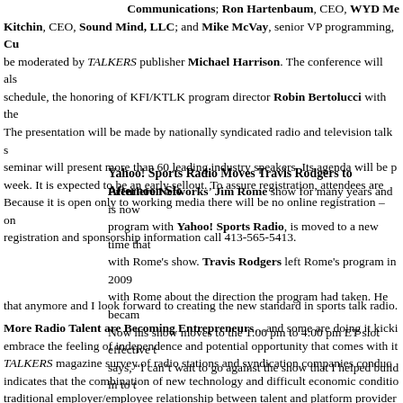Communications; Ron Hartenbaum, CEO, WYD Me... Kitchin, CEO, Sound Mind, LLC; and Mike McVay, senior VP programming, Cu... be moderated by TALKERS publisher Michael Harrison. The conference will als... schedule, the honoring of KFI/KTLK program director Robin Bertolucci with the... The presentation will be made by nationally syndicated radio and television talk ... seminar will present more than 60 leading industry speakers. Its agenda will be p... week. It is expected to be an early sellout. To assure registration, attendees are... Because it is open only to working media there will be no online registration – on... registration and sponsorship information call 413-565-5413.
Yahoo! Sports Radio Moves Travis Rodgers to Afternoon Slo...
Premiere Networks' Jim Rome show for many years and is now... program with Yahoo! Sports Radio, is moved to a new time that... with Rome's show. Travis Rodgers left Rome's program in 2009... with Rome about the direction the program had taken. He becam... Now his show moves to the 1:00 pm to 4:00 pm ET slot effective t... says, "I can't wait to go against the show that I helped build in to t... that anymore and I look forward to creating the new standard in sports talk radio.
More Radio Talent are Becoming Entrepreneurs...and some are doing it kicki... embrace the feeling of independence and potential opportunity that comes with i... TALKERS magazine survey of radio stations and syndication companies conduc... indicates that the combination of new technology and difficult economic conditio... traditional employer/employee relationship between talent and platform provider... independent contractor deals with many air personalities – even at major market...